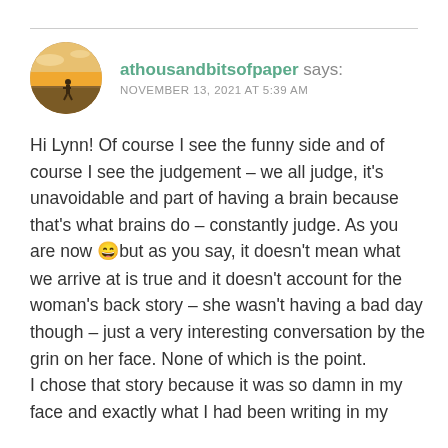[Figure (photo): Circular avatar photo showing a person in a field at sunset/sunrise, warm golden tones]
athousandbitsofpaper says:
NOVEMBER 13, 2021 AT 5:39 AM
Hi Lynn! Of course I see the funny side and of course I see the judgement – we all judge, it's unavoidable and part of having a brain because that's what brains do – constantly judge. As you are now 😄but as you say, it doesn't mean what we arrive at is true and it doesn't account for the woman's back story – she wasn't having a bad day though – just a very interesting conversation by the grin on her face. None of which is the point.
I chose that story because it was so damn in my face and exactly what I had been writing in my